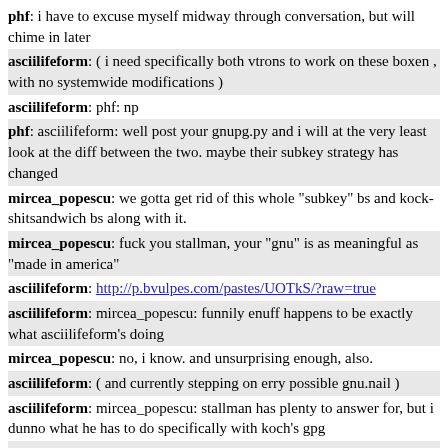phf: i have to excuse myself midway through conversation, but will chime in later
asciilifeform: ( i need specifically both vtrons to work on these boxen , with no systemwide modifications )
asciilifeform: phf: np
phf: asciilifeform: well post your gnupg.py and i will at the very least look at the diff between the two. maybe their subkey strategy has changed
mircea_popescu: we gotta get rid of this whole "subkey" bs and kock-shitsandwich bs along with it.
mircea_popescu: fuck you stallman, your "gnu" is as meaningful as "made in america"
asciilifeform: http://p.bvulpes.com/pastes/UOTkS/?raw=true
asciilifeform: mircea_popescu: funnily enuff happens to be exactly what asciilifeform's doing
mircea_popescu: no, i know. and unsurprising enough, also.
asciilifeform: ( and currently stepping on erry possible gnu.nail )
asciilifeform: mircea_popescu: stallman has plenty to answer for, but i dunno what he has to do specifically with koch's gpg
mircea_popescu: why's it called "gnu" pg ?
asciilifeform: i'll be happy to see'em sitting on neighbouring stakes tho
asciilifeform: mircea_popescu: presumably cuz koch stuck a gpl sticker on it
mircea_popescu: what, specifically, is the tag supposed to convey